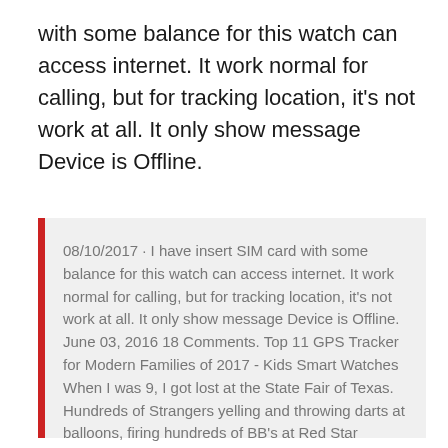with some balance for this watch can access internet. It work normal for calling, but for tracking location, it's not work at all. It only show message Device is Offline.
08/10/2017 · I have insert SIM card with some balance for this watch can access internet. It work normal for calling, but for tracking location, it's not work at all. It only show message Device is Offline. June 03, 2016 18 Comments. Top 11 GPS Tracker for Modern Families of 2017 - Kids Smart Watches When I was 9, I got lost at the State Fair of Texas. Hundreds of Strangers yelling and throwing darts at balloons, firing hundreds of BB's at Red Star targets, and no sign of my Dad. I was terrified and thank God with in 2 minutes I had found a Police Officer.